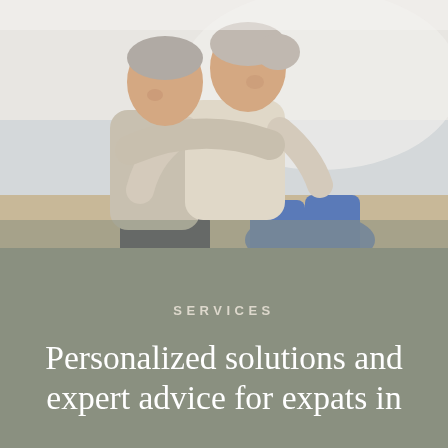[Figure (photo): An older couple laughing and embracing on a beach. The man, with grey hair, hugs the woman from behind. The woman is wearing a light cream sweater and jeans, laughing joyfully. Beach and water are visible in the background.]
SERVICES
Personalized solutions and expert advice for expats in